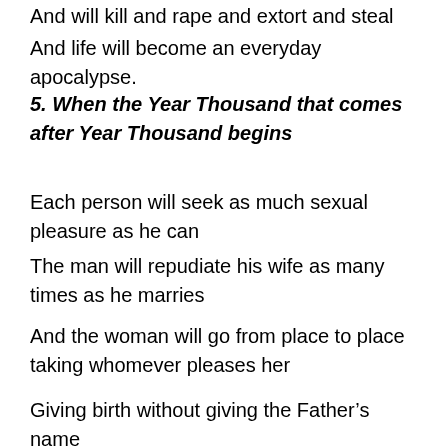And will kill and rape and extort and steal
And life will become an everyday apocalypse.
5.  When the Year Thousand that comes after Year Thousand begins
Each person will seek as much sexual pleasure as he can
The man will repudiate his wife as many times as he marries
And the woman will go from place to place taking whomever pleases her
Giving birth without giving the Father’s name
But no educator will guide the child
And each one among the others will be alone
Tradition will be lost
The Law will be forgotten